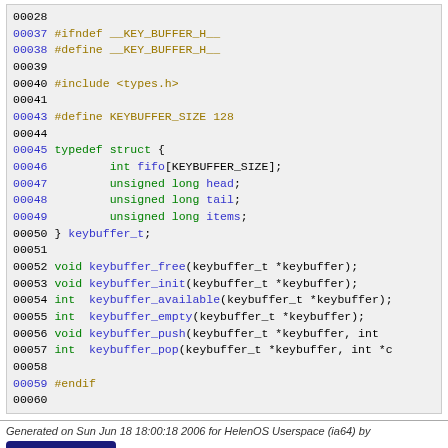Source code listing: key_buffer.h with line numbers 00028-00060, showing C header file with #ifndef guard, #include <types.h>, KEYBUFFER_SIZE define, typedef struct with fifo/head/tail/items fields, and function declarations for keybuffer_free, keybuffer_init, keybuffer_available, keybuffer_empty, keybuffer_push, keybuffer_pop
Generated on Sun Jun 18 18:00:18 2006 for HelenOS Userspace (ia64) by doxygen 1.4.6